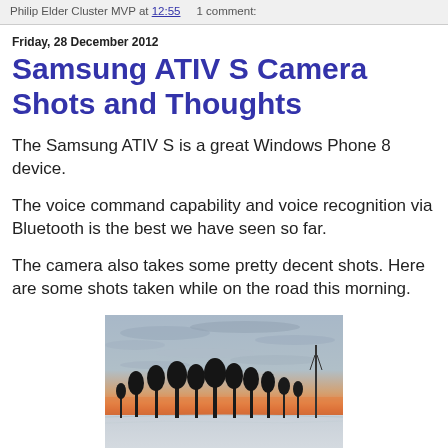Philip Elder Cluster MVP at 12:55    1 comment:
Friday, 28 December 2012
Samsung ATIV S Camera Shots and Thoughts
The Samsung ATIV S is a great Windows Phone 8 device.
The voice command capability and voice recognition via Bluetooth is the best we have seen so far.
The camera also takes some pretty decent shots. Here are some shots taken while on the road this morning.
[Figure (photo): Outdoor winter landscape photo showing snow-covered ground, bare trees silhouetted against a sunset sky with orange and pink hues near the horizon and grey-blue cloudy sky above. A tall pole/antenna is visible on the right side.]